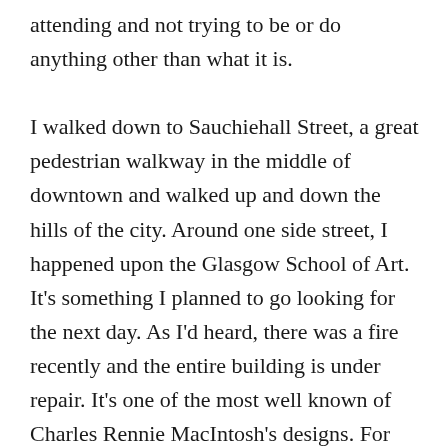attending and not trying to be or do anything other than what it is.

I walked down to Sauchiehall Street, a great pedestrian walkway in the middle of downtown and walked up and down the hills of the city. Around one side street, I happened upon the Glasgow School of Art. It's something I planned to go looking for the next day. As I'd heard, there was a fire recently and the entire building is under repair. It's one of the most well known of Charles Rennie MacIntosh's designs. For those of you who aren't architecture geeks, MacIntosh was a well known artist, architect and designer